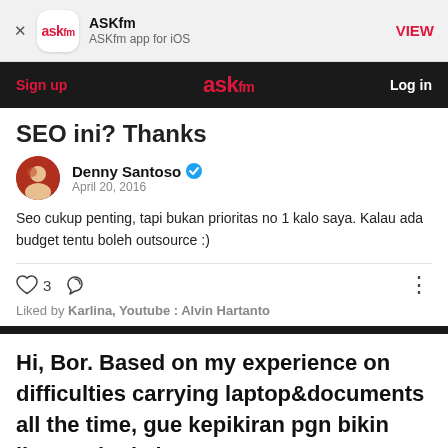ASKfm | ASKfm app for iOS | VIEW
Sign up | ASKfm | Log in
SEO ini? Thanks
Denny Santoso · April 20, 2016
Seo cukup penting, tapi bukan prioritas no 1 kalo saya. Kalau ada budget tentu boleh outsource :)
3 · Liked by: Karlina, Youtube : Alvin Hartanto
Hi, Bor. Based on my experience on difficulties carrying laptop&documents all the time, gue kepikiran pgn bikin line tas kerja buat perempuan. Yg muat laptop&stuff, strong,